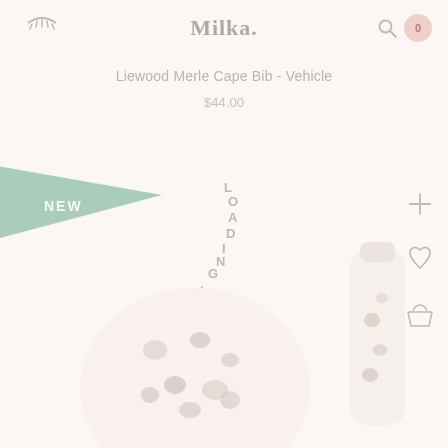Milka. — navigation header with eyelash icon, search icon, and cart badge showing 0
Liewood Merle Cape Bib - Vehicle
$44.00
[Figure (illustration): A sage green triangular pennant/flag with 'NEW' text in white, pointing right, attached at left edge]
[Figure (illustration): Vertical loading text 'LOADING...' rotated clockwise, in light gray, indicating page loading state]
[Figure (photo): Two baby/child products on a very light pink/cream background: a round plate or bib with cat/animal print pattern on left, and a white water bottle with cat print on right, partially visible]
[Figure (illustration): Sidebar icons: plus (+), heart, and shopping cart icons in light gray on the right side]